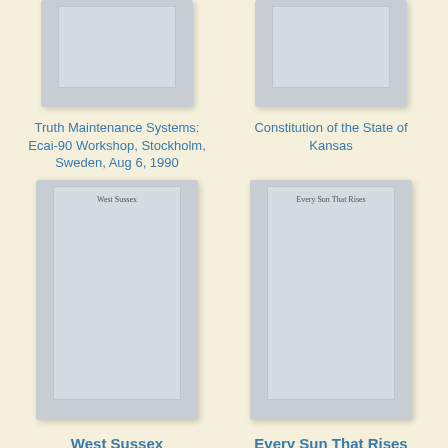[Figure (illustration): Book cover placeholder for Truth Maintenance Systems: Ecai-90 Workshop, Stockholm, Sweden, Aug 6, 1990]
[Figure (illustration): Book cover placeholder for Constitution of the State of Kansas]
Truth Maintenance Systems: Ecai-90 Workshop, Stockholm, Sweden, Aug 6, 1990
Constitution of the State of Kansas
[Figure (illustration): Book cover for West Sussex with inner border and title text]
[Figure (illustration): Book cover for Every Sun That Rises with inner border and title text]
West Sussex
Every Sun That Rises
[Figure (illustration): Book cover showing SPECIAL PUBLICATION of CARNEGIE MUSEUM OF NATURAL HISTORY]
[Figure (illustration): Book cover showing partial text: art and science of]